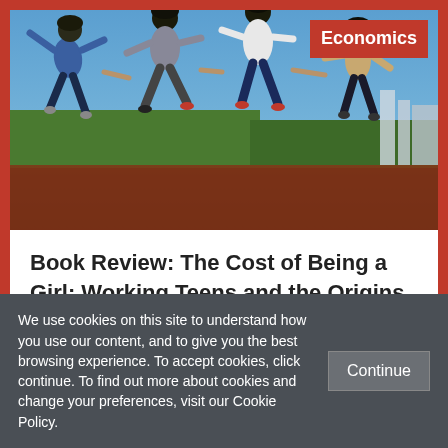[Figure (photo): Four children/teens jumping in the air holding hands, viewed from behind, against a blue sky background. A red 'Economics' badge appears in the top right corner of the photo.]
Book Review: The Cost of Being a Girl: Working Teens and the Origins of the Gender Wage Gap by Yasemin Besen-Cassino
We use cookies on this site to understand how you use our content, and to give you the best browsing experience. To accept cookies, click continue. To find out more about cookies and change your preferences, visit our Cookie Policy.